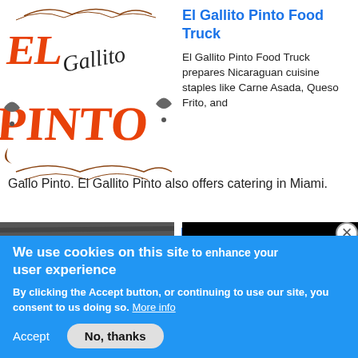[Figure (logo): El Gallito Pinto logo with decorative script text in orange and black]
El Gallito Pinto Food Truck
El Gallito Pinto Food Truck prepares Nicaraguan cuisine staples like Carne Asada, Queso Frito, and Gallo Pinto. El Gallito Pinto also offers catering in Miami.
[Figure (logo): El Toro Loco logo on wooden background]
El Toro Loco
A
[Figure (screenshot): Black video overlay box]
We use cookies on this site to enhance your user experience
By clicking the Accept button, or continuing to use our site, you consent to us doing so. More info
Accept
No, thanks